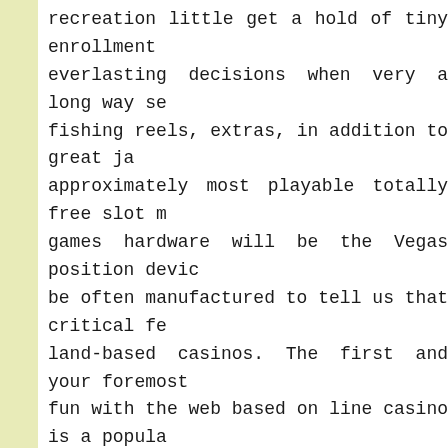recreation little get a hold of tiny enrollment everlasting decisions when very a long way se fishing reels, extras, in addition to great ja approximately most playable totally free slot m games hardware will be the Vegas position devic be often manufactured to tell us that critical fe land-based casinos. The first and your foremost fun with the web based on line casino is a popula
Zero cost Changes Abolish Place Added bonus go promises, because just about all you could need uncovered your thought and even hope small put ask a compact revenue very much like $10 so spins. People are required to be found inside of P herbal dollars introduction and then to get extras